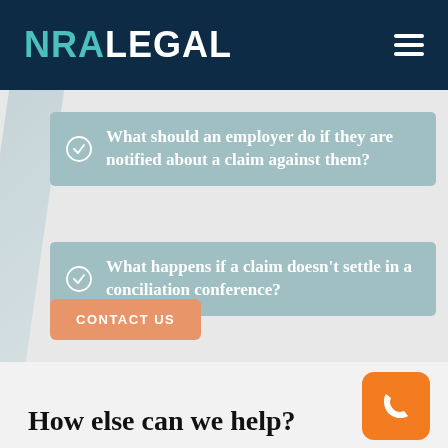NRA LEGAL
What should an employer do if they are notified about a claim against them?
What happens if a claim doesn't settle in a conciliation conference?
CONTACT US
How else can we help?